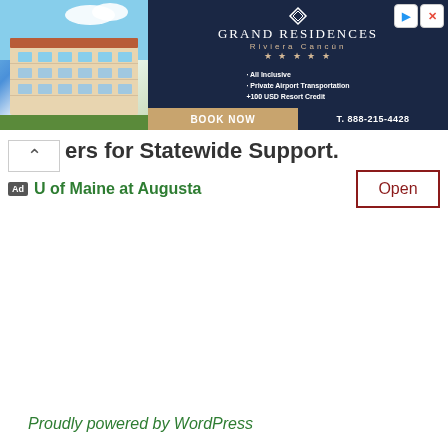[Figure (screenshot): Grand Residences hotel advertisement banner with building photo on left, hotel logo and amenities text on right, blue background with BOOK NOW button and phone number T. 888-215-4428]
ers for Statewide Support.
Ad  U of Maine at Augusta
Open
Proudly powered by WordPress